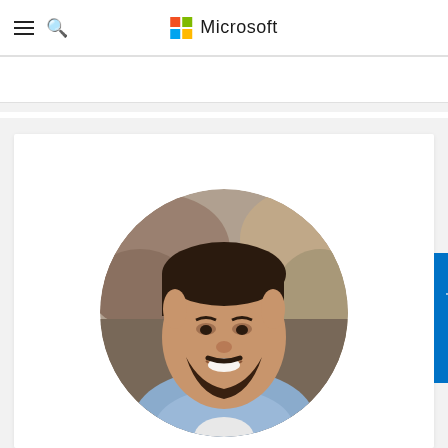Microsoft
Python
[Figure (photo): Circular profile photo of a smiling man with short dark hair and beard, wearing a blue checked shirt, with rocky background. Microsoft developer/author profile photo on a documentation page.]